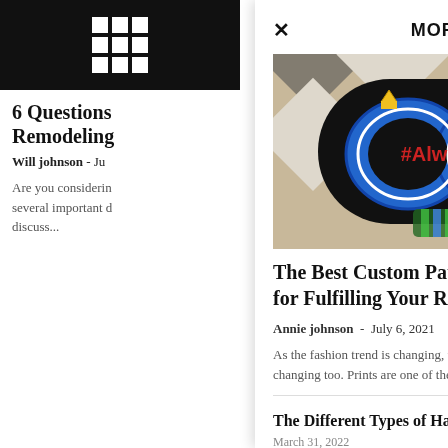[Figure (other): 3x3 white grid icon on black background]
6 Questions Remodeling
Will johnson - Ju
Are you considerin several important d discuss...
MORE STORIES
[Figure (photo): Photo of a custom embroidered patch with '#AlwayzUs' text in an infinity symbol with crowns, on a patterned background]
The Best Custom Patch Company for Fulfilling Your Requirements
Annie johnson - July 6, 2021
As the fashion trend is changing, the way of wearing accessories and outfits is changing too. Prints are one of the topmost styles in...
The Different Types of Hair Extensions
March 31, 2022